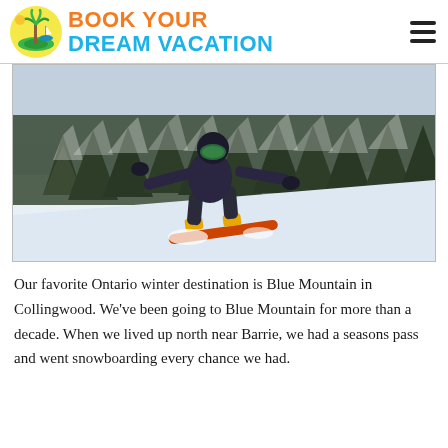BOOK YOUR DREAM VACATION
[Figure (photo): A snowboarder in dark gear and black helmet with green goggles riding down a snowy slope with snow-covered pine trees in the background on an overcast day.]
Our favorite Ontario winter destination is Blue Mountain in Collingwood. We've been going to Blue Mountain for more than a decade. When we lived up north near Barrie, we had a seasons pass and went snowboarding every chance we had.